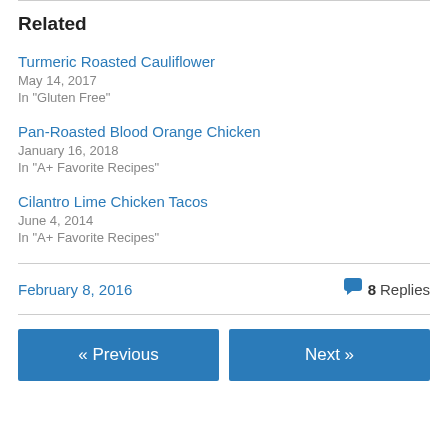Related
Turmeric Roasted Cauliflower
May 14, 2017
In "Gluten Free"
Pan-Roasted Blood Orange Chicken
January 16, 2018
In "A+ Favorite Recipes"
Cilantro Lime Chicken Tacos
June 4, 2014
In "A+ Favorite Recipes"
February 8, 2016   💬 8 Replies
« Previous   Next »